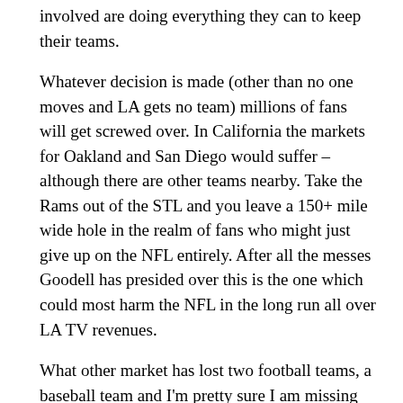involved are doing everything they can to keep their teams.
Whatever decision is made (other than no one moves and LA gets no team) millions of fans will get screwed over. In California the markets for Oakland and San Diego would suffer – although there are other teams nearby. Take the Rams out of the STL and you leave a 150+ mile wide hole in the realm of fans who might just give up on the NFL entirely. After all the messes Goodell has presided over this is the one which could most harm the NFL in the long run all over LA TV revenues.
What other market has lost two football teams, a baseball team and I'm pretty sure I am missing something …. and is still considered this important?
It's all about money. Not the fans. Not the players. Not the teams…the owners greedy pockets. Anyone who loses their team to a move should abandon the NFL entirely and find a college team to root for. At least they won't pull extortion moves and take off on a whim.